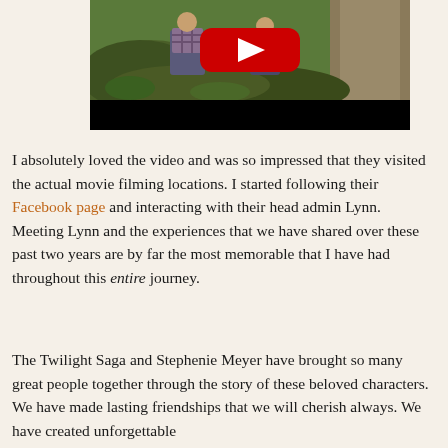[Figure (screenshot): YouTube video thumbnail showing two people crouching near large tree roots/rocks in a forest setting, with the YouTube play button overlay (red rectangle with white triangle) in the center. Below the image is a black video control bar.]
I absolutely loved the video and was so impressed that they visited the actual movie filming locations. I started following their Facebook page and interacting with their head admin Lynn.   Meeting Lynn and the experiences that we have shared over these past two years are by far the most memorable that I have had throughout this entire journey.
The Twilight Saga and Stephenie Meyer have brought so many great people together through the story of these beloved characters. We have made lasting friendships that we will cherish always. We have created unforgettable